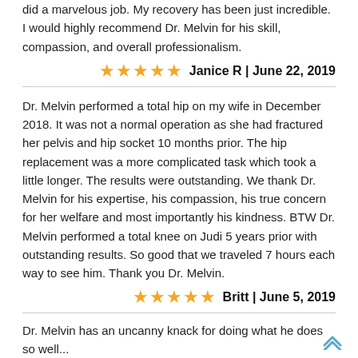did a marvelous job. My recovery has been just incredible. I would highly recommend Dr. Melvin for his skill, compassion, and overall professionalism.
★★★★★  Janice R | June 22, 2019
Dr. Melvin performed a total hip on my wife in December 2018. It was not a normal operation as she had fractured her pelvis and hip socket 10 months prior. The hip replacement was a more complicated task which took a little longer. The results were outstanding. We thank Dr. Melvin for his expertise, his compassion, his true concern for her welfare and most importantly his kindness. BTW Dr. Melvin performed a total knee on Judi 5 years prior with outstanding results. So good that we traveled 7 hours each way to see him. Thank you Dr. Melvin.
★★★★★  Britt | June 5, 2019
Dr. Melvin has an uncanny knack for doing what he does so well...